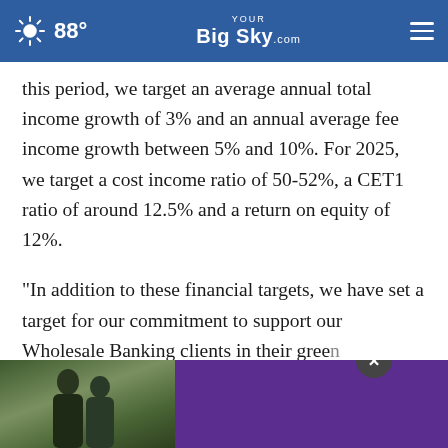88° YOUR BigSky.COM ☰
this period, we target an average annual total income growth of 3% and an annual average fee income growth between 5% and 10%. For 2025, we target a cost income ratio of 50-52%, a CET1 ratio of around 12.5% and a return on equity of 12%.
“In addition to these financial targets, we have set a target for our commitment to support our Wholesale Banking clients in their green transition [provision] of sustainable finance per annum by 2025. We
[Figure (photo): Advertisement overlay showing two men standing together against a green/nature background, with a purple banner to the right. A close/dismiss button (×) is visible.]